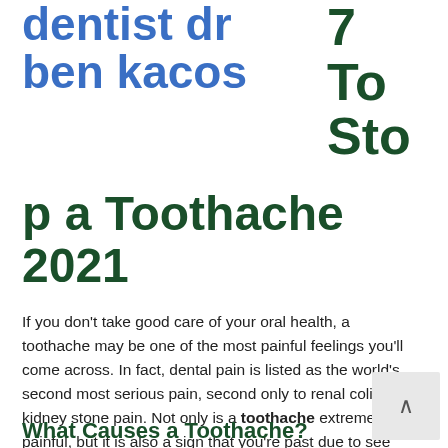dentist dr ben kacos
7 Ways To Stop a Toothache 2021
If you don't take good care of your oral health, a toothache may be one of the most painful feelings you'll come across. In fact, dental pain is listed as the world's second most serious pain, second only to renal colic and kidney stone pain. Not only is a toothache extremely painful, but it is also a sign that you're past due to see your dentist in Shreveport, LA.
What Causes a Toothache?